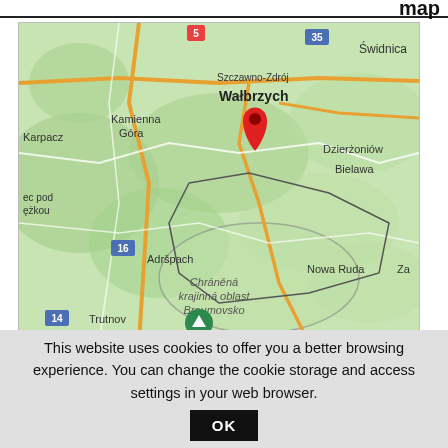map
[Figure (map): Google Maps view showing Wałbrzych area in Poland/Czech Republic border region. Red pin marker placed in the Wałbrzych area. Visible place names: Świdnica, Szczawno-Zdrój, Wałbrzych (bold), Kamienna Góra, Karpacz, Dzierżoniów, Bielawa, Adršpach, Nowa Ruda, Trutnov, Chráněná krajinná oblast Broumovsko (italic), bšsko-jesenická subprovincie. Road numbers visible: 5, 35, 16, 14. Green map pin marker for bšsko-jesenická subprovincie.]
Larger map and accommodation »
This website uses cookies to offer you a better browsing experience. You can change the cookie storage and access settings in your web browser.